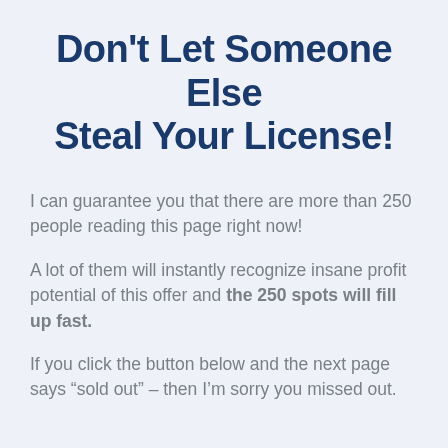Don't Let Someone Else Steal Your License!
I can guarantee you that there are more than 250 people reading this page right now!
A lot of them will instantly recognize insane profit potential of this offer and the 250 spots will fill up fast.
If you click the button below and the next page says “sold out” – then I’m sorry you missed out.